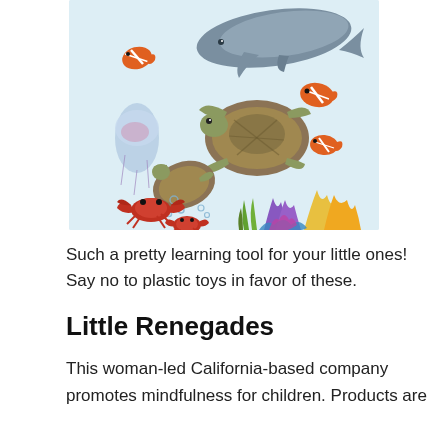[Figure (illustration): Watercolor-style illustration of ocean animals on a light blue background, including a whale, clownfish, sea turtles, jellyfish, crab, and colorful coral reef plants.]
Such a pretty learning tool for your little ones! Say no to plastic toys in favor of these.
Little Renegades
This woman-led California-based company promotes mindfulness for children. Products are